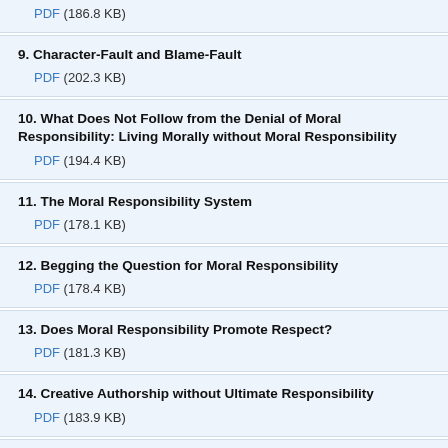PDF (186.8 KB)
9. Character-Fault and Blame-Fault
PDF (202.3 KB)
10. What Does Not Follow from the Denial of Moral Responsibility: Living Morally without Moral Responsibility
PDF (194.4 KB)
11. The Moral Responsibility System
PDF (178.1 KB)
12. Begging the Question for Moral Responsibility
PDF (178.4 KB)
13. Does Moral Responsibility Promote Respect?
PDF (181.3 KB)
14. Creative Authorship without Ultimate Responsibility
PDF (183.9 KB)
15. A World without Moral Responsibility